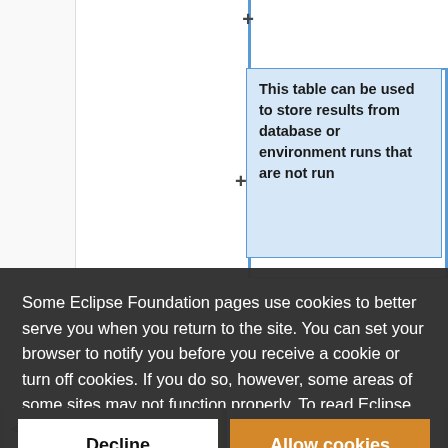[Figure (screenshot): Partial view of a web-based table editor showing a tooltip with text 'This table can be used to store results from database or environment runs that are not run' with blue border highlight and plus signs indicating expandable rows. A blue vertical line divides the editor area.]
This table can be used to store results from database or environment runs that are not run
Some Eclipse Foundation pages use cookies to better serve you when you return to the site. You can set your browser to notify you before you receive a cookie or turn off cookies. If you do so, however, some areas of some sites may not function properly. To read Eclipse Foundation Privacy Policy click here.
Decline
Allow cookies
<td>Fail</td>
<td>Fail</td>